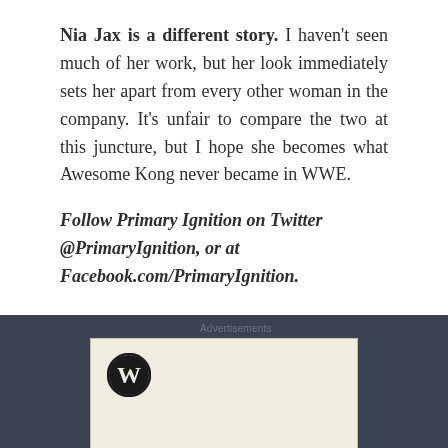Nia Jax is a different story. I haven't seen much of her work, but her look immediately sets her apart from every other woman in the company. It's unfair to compare the two at this juncture, but I hope she becomes what Awesome Kong never became in WWE.
Follow Primary Ignition on Twitter @PrimaryIgnition, or at Facebook.com/PrimaryIgnition.
[Figure (other): WordPress advertisement block with WordPress logo (W in circle) and partial text at bottom on a cream/beige background, displayed within a dark blue-gray footer section labeled 'Advertisements'.]